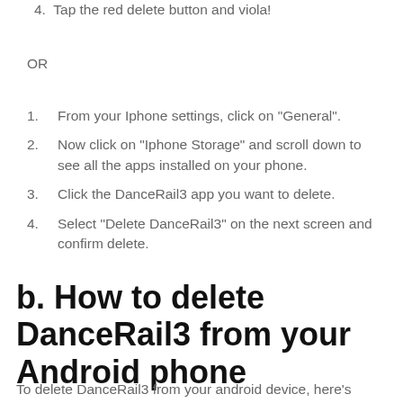4. Tap the red delete button and viola!
OR
1. From your Iphone settings, click on "General".
2. Now click on "Iphone Storage" and scroll down to see all the apps installed on your phone.
3. Click the DanceRail3 app you want to delete.
4. Select "Delete DanceRail3" on the next screen and confirm delete.
b. How to delete DanceRail3 from your Android phone
To delete DanceRail3 from your android device, here's